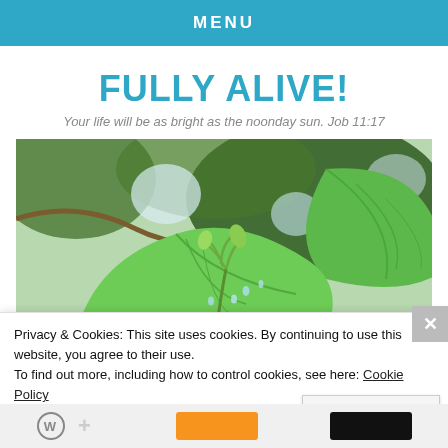MENU
FULLY ALIVE!
Your life will be as bright as the noonday sun. Job 11:17
[Figure (photo): Close-up photo of fresh green leaves and a small plant bud with water droplets, blurred bokeh background]
Privacy & Cookies: This site uses cookies. By continuing to use this website, you agree to their use.
To find out more, including how to control cookies, see here: Cookie Policy
Close and accept